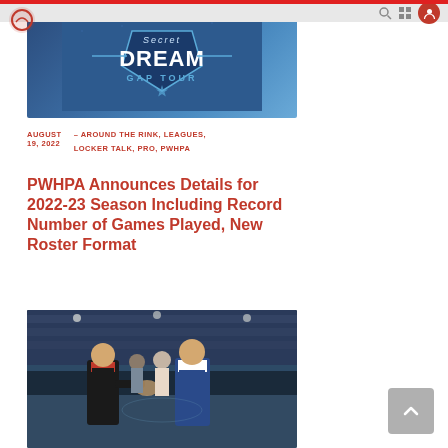[Figure (photo): Secret Dream Gap Tour promotional banner with hockey-themed design on blue background]
AUGUST 19, 2022  –  AROUND THE RINK, LEAGUES, LOCKER TALK, PRO, PWHPA
PWHPA Announces Details for 2022-23 Season Including Record Number of Games Played, New Roster Format
[Figure (photo): Hockey players shaking hands on ice rink, woman in black and red jersey with man in blue blazer]